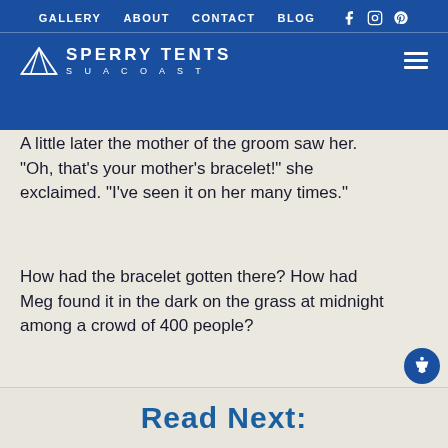GALLERY  ABOUT  CONTACT  BLOG  [social icons]  Sperry Tents Seacoast
A little later the mother of the groom saw her. “Oh, that’s your mother’s bracelet!” she exclaimed. “I’ve seen it on her many times.”
How had the bracelet gotten there? How had Meg found it in the dark on the grass at midnight among a crowd of 400 people?
“Of course you keep it,” said her mother’s friend. “I think she’s just given it to you.”
[Figure (other): Decorative asterism / section divider symbol]
Read Next: